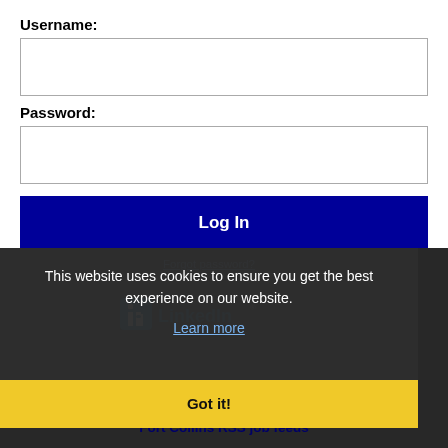Username:
Password:
Log In
Forgot password?
This website uses cookies to ensure you get the best experience on our website.
Learn more
[Figure (logo): LinkedIn logo]
Get the latest Colorado jobs by following @recnetCO on Twitter!
Got it!
Fort Collins RSS job feeds